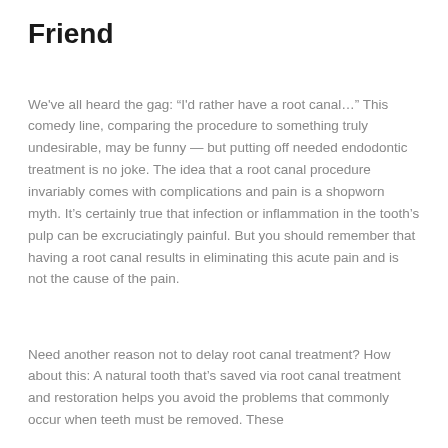Friend
We've all heard the gag: “I'd rather have a root canal…” This comedy line, comparing the procedure to something truly undesirable, may be funny — but putting off needed endodontic treatment is no joke. The idea that a root canal procedure invariably comes with complications and pain is a shopworn myth. It’s certainly true that infection or inflammation in the tooth’s pulp can be excruciatingly painful. But you should remember that having a root canal results in eliminating this acute pain and is not the cause of the pain.
Need another reason not to delay root canal treatment? How about this: A natural tooth that’s saved via root canal treatment and restoration helps you avoid the problems that commonly occur when teeth must be removed. These